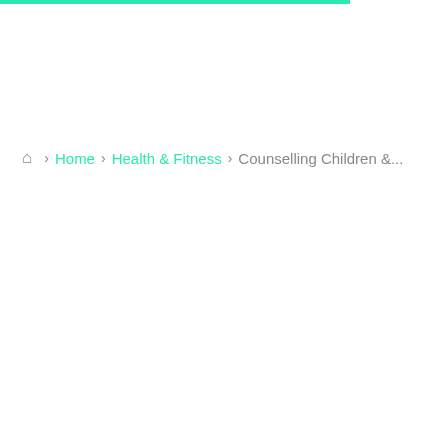Home › Health & Fitness › Counselling Children &...